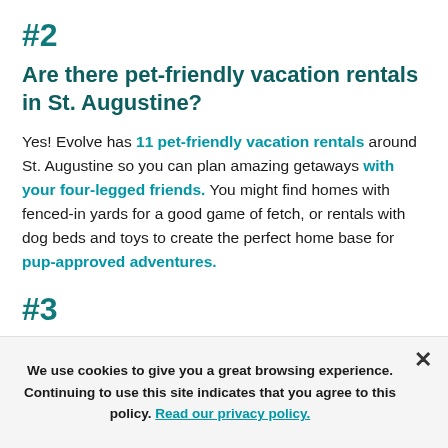#2
Are there pet-friendly vacation rentals in St. Augustine?
Yes! Evolve has 11 pet-friendly vacation rentals around St. Augustine so you can plan amazing getaways with your four-legged friends. You might find homes with fenced-in yards for a good game of fetch, or rentals with dog beds and toys to create the perfect home base for pup-approved adventures.
#3
We use cookies to give you a great browsing experience. Continuing to use this site indicates that you agree to this policy. Read our privacy policy.